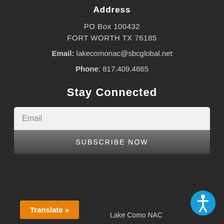Address
PO Box 100432
FORT WORTH TX 76185
Email: lakecomonac@sbcglobal.net
Phone: 817.409.4665
Stay Connected
Email
SUBSCRIBE NOW
Translate »
Lake Como NAC